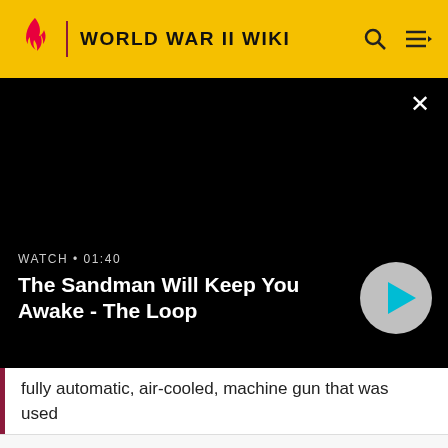WORLD WAR II WIKI
[Figure (screenshot): Black video player area with close button (×) in top right, showing WATCH • 01:40 label and title 'The Sandman Will Keep You Awake - The Loop' with a play button circle on the right]
fully automatic, air-cooled, machine gun that was used
-
Please log in!
READ MORE